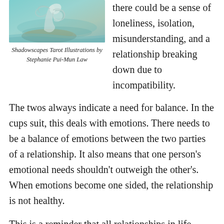[Figure (illustration): Tarot card illustration with aqua/teal tones showing a figure or creature, part of Shadowscapes Tarot deck]
Shadowscapes Tarot Illustrations by Stephanie Pui-Mun Law
there could be a sense of loneliness, isolation, misunderstanding, and a relationship breaking down due to incompatibility.
The twos always indicate a need for balance. In the cups suit, this deals with emotions. There needs to be a balance of emotions between the two parties of a relationship. It also means that one person's emotional needs shouldn't outweigh the other's.  When emotions become one sided, the relationship is not healthy.
This is a reminder that all relationships in life, whether they are familial, platonic, or romantic, need to have a sense of balance and each person in the relationship is